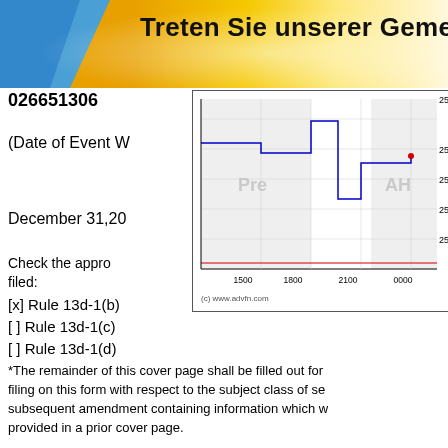Treten Sie unserer Gemeinschaft bei
026651306
(Date of Event W
December 31, 20
Check the appropriate box if the Schedule 13D is being filed:
[x] Rule 13d-1(b)
[ ] Rule 13d-1(c)
[ ] Rule 13d-1(d)
*The remainder of this cover page shall be filled out for an initial filing on this form with respect to the subject class of securities and for any subsequent amendment containing information which would alter the information provided in a prior cover page.
[Figure (continuous-plot): Stock price chart showing intraday price movement with Pre-market and After-Hours (AH) sections. Price range approximately 25.05 to 25.23. X-axis shows times: 1500, 1800, 2100, 0000. Blue line chart with red horizontal line near bottom. Source: (c) www.advfn.com]
The information required in the remainder of this cover